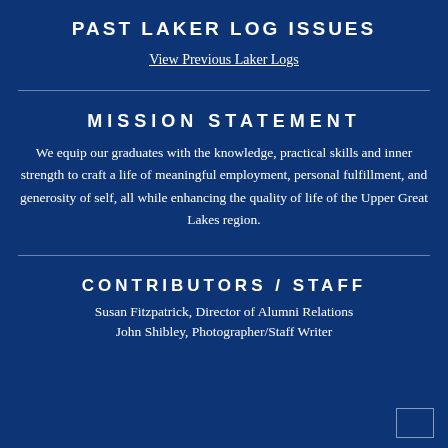PAST LAKER LOG ISSUES
View Previous Laker Logs
MISSION STATEMENT
We equip our graduates with the knowledge, practical skills and inner strength to craft a life of meaningful employment, personal fulfillment, and generosity of self, all while enhancing the quality of life of the Upper Great Lakes region.
CONTRIBUTORS / STAFF
Susan Fitzpatrick, Director of Alumni Relations
John Shibley, Photographer/Staff Writer